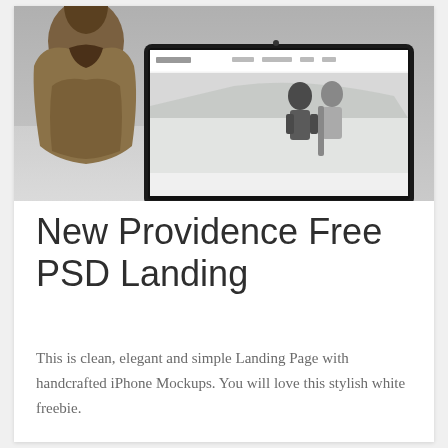[Figure (screenshot): A mockup image showing a laptop computer displaying a fashion/lifestyle website (misims brand), with a person in a brown jacket visible in the background on the left side. The website on the laptop shows a navigation bar and a hero image of two people in a snowy outdoor setting.]
New Providence Free PSD Landing
This is clean, elegant and simple Landing Page with handcrafted iPhone Mockups. You will love this stylish white freebie.